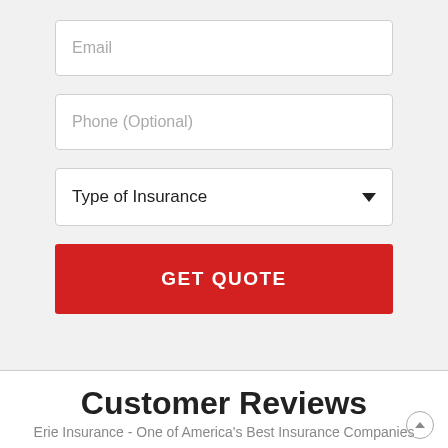Email
Phone (Optional)
Type of Insurance
GET QUOTE
Customer Reviews
Erie Insurance - One of America's Best Insurance Companies